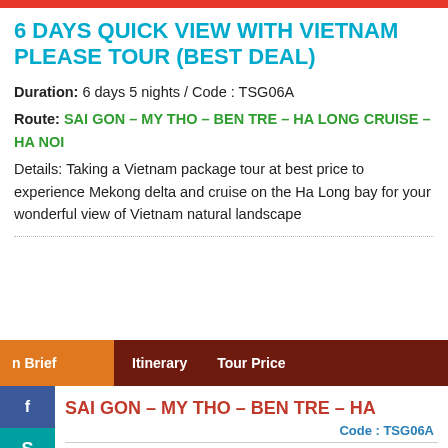6 DAYS QUICK VIEW WITH VIETNAM PLEASE TOUR (BEST DEAL)
Duration: 6 days 5 nights / Code : TSG06A
Route: SAI GON – MY THO – BEN TRE – HA LONG CRUISE – HA NOI
Details: Taking a Vietnam package tour at best price to experience Mekong delta and cruise on the Ha Long bay for your wonderful view of Vietnam natural landscape
n Brief   Itinerary   Tour Price
SAI GON – MY THO – BEN TRE – HA
Code : TSG06A